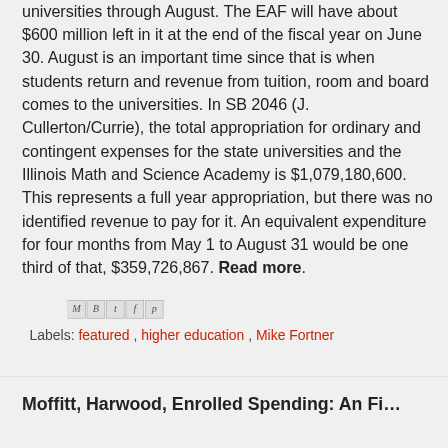universities through August. The EAF will have about $600 million left in it at the end of the fiscal year on June 30. August is an important time since that is when students return and revenue from tuition, room and board comes to the universities. In SB 2046 (J. Cullerton/Currie), the total appropriation for ordinary and contingent expenses for the state universities and the Illinois Math and Science Academy is $1,079,180,600. This represents a full year appropriation, but there was no identified revenue to pay for it. An equivalent expenditure for four months from May 1 to August 31 would be one third of that, $359,726,867. Read more.
[Figure (other): Social sharing icons: Gmail (M), Blogger (B), Twitter (t), Facebook (f), Pinterest (p)]
Labels: featured , higher education , Mike Fortner
Moffitt, Harwood, Enrolled Spending: An Fi...